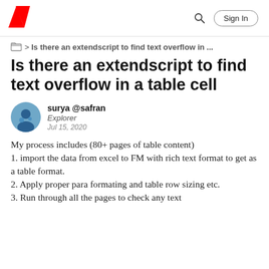Adobe [logo] | Search | Sign In
> Is there an extendscript to find text overflow in ...
Is there an extendscript to find text overflow in a table cell
surya @safran
Explorer
Jul 15, 2020
My process includes (80+ pages of table content)
1. import the data from excel to FM with rich text format to get as a table format.
2. Apply proper para formating and table row sizing etc.
3. Run through all the pages to check any text...